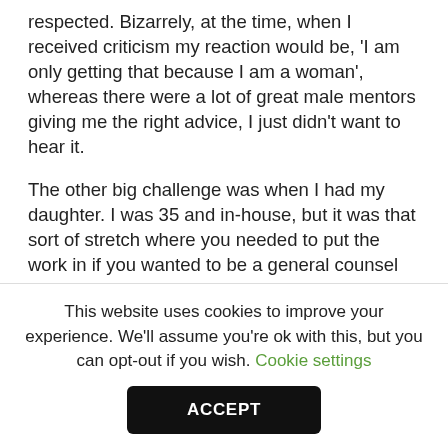respected. Bizarrely, at the time, when I received criticism my reaction would be, 'I am only getting that because I am a woman', whereas there were a lot of great male mentors giving me the right advice, I just didn't want to hear it.
The other big challenge was when I had my daughter. I was 35 and in-house, but it was that sort of stretch where you needed to put the work in if you wanted to be a general counsel and, yes, I put the work in. My husband became a stay-at-home dad and took the main responsibilities for raising our daughter. The guilt, feeling I was doing nothing right – not the job, not being a mother, not a good wife – for one or two years was a big challenge. Had I not had such an understanding husband
This website uses cookies to improve your experience. We'll assume you're ok with this, but you can opt-out if you wish. Cookie settings
ACCEPT